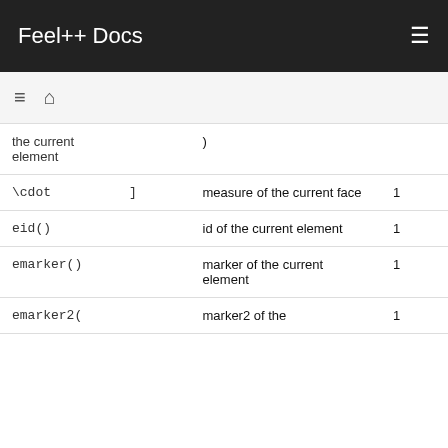Feel++ Docs
| Expression | Symbol | Description | Rank |
| --- | --- | --- | --- |
|  | ) | the current element |  |
| \cdot | ] | measure of the current face | 1 |
| eid() |  | id of the current element | 1 |
| emarker() |  | marker of the current element | 1 |
| emarker2( |  | marker2 of the | 1 |